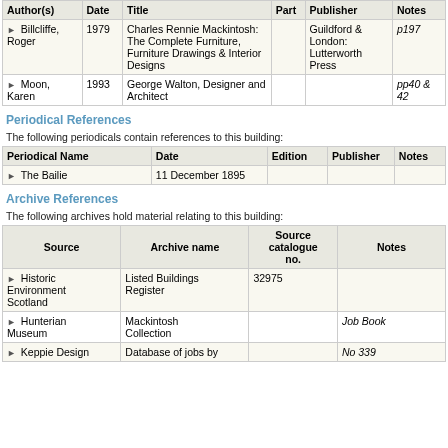| Author(s) | Date | Title | Part | Publisher | Notes |
| --- | --- | --- | --- | --- | --- |
| Billcliffe, Roger | 1979 | Charles Rennie Mackintosh: The Complete Furniture, Furniture Drawings & Interior Designs |  | Guildford & London: Lutterworth Press | p197 |
| Moon, Karen | 1993 | George Walton, Designer and Architect |  |  | pp40 & 42 |
Periodical References
The following periodicals contain references to this building:
| Periodical Name | Date | Edition | Publisher | Notes |
| --- | --- | --- | --- | --- |
| The Bailie | 11 December 1895 |  |  |  |
Archive References
The following archives hold material relating to this building:
| Source | Archive name | Source catalogue no. | Notes |
| --- | --- | --- | --- |
| Historic Environment Scotland | Listed Buildings Register | 32975 |  |
| Hunterian Museum | Mackintosh Collection |  | Job Book |
| Keppie Design | Database of jobs by |  | No 339 |